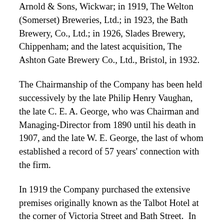Arnold & Sons, Wickwar; in 1919, The Welton (Somerset) Breweries, Ltd.; in 1923, the Bath Brewery, Co., Ltd.; in 1926, Slades Brewery, Chippenham; and the latest acquisition, The Ashton Gate Brewery Co., Ltd., Bristol, in 1932.
The Chairmanship of the Company has been held successively by the late Philip Henry Vaughan, the late C. E. A. George, who was Chairman and Managing-Director from 1890 until his death in 1907, and the late W. E. George, the last of whom established a record of 57 years' connection with the firm.
In 1919 the Company purchased the extensive premises originally known as the Talbot Hotel at the corner of Victoria Street and Bath Street.  In this building the offices of the Company are now situated (although considerably damaged by enemy action).  It became